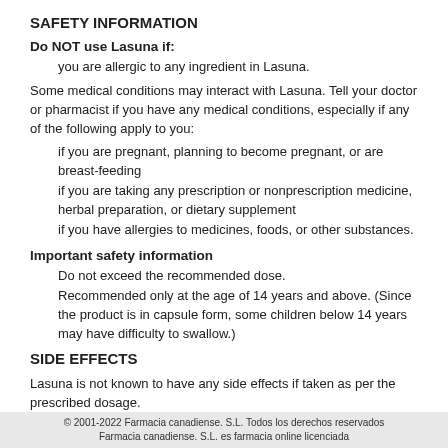SAFETY INFORMATION
Do NOT use Lasuna if:
you are allergic to any ingredient in Lasuna.
Some medical conditions may interact with Lasuna. Tell your doctor or pharmacist if you have any medical conditions, especially if any of the following apply to you:
if you are pregnant, planning to become pregnant, or are breast-feeding
if you are taking any prescription or nonprescription medicine, herbal preparation, or dietary supplement
if you have allergies to medicines, foods, or other substances.
Important safety information
Do not exceed the recommended dose.
Recommended only at the age of 14 years and above. (Since the product is in capsule form, some children below 14 years may have difficulty to swallow.)
SIDE EFFECTS
Lasuna is not known to have any side effects if taken as per the prescribed dosage.
© 2001-2022 Farmacia canadiense. S.L. Todos los derechos reservados
Farmacia canadiense. S.L. es farmacia online licenciada